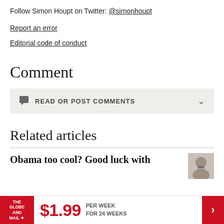Follow Simon Houpt on Twitter: @simonhoupt
Report an error
Editorial code of conduct
Comment
READ OR POST COMMENTS
Related articles
Obama too cool? Good luck with
[Figure (photo): Headshot thumbnail of a man with glasses]
THE GLOBE AND MAIL  $1.99 PER WEEK FOR 24 WEEKS >